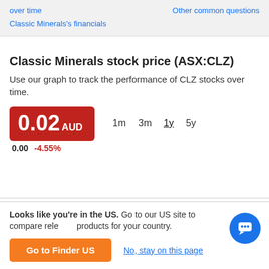over time | Other common questions | Classic Minerals's financials
Classic Minerals stock price (ASX:CLZ)
Use our graph to track the performance of CLZ stocks over time.
0.02 AUD
0.00  -4.55%
1m  3m  1y  5y
Looks like you're in the US. Go to our US site to compare relevant products for your country.